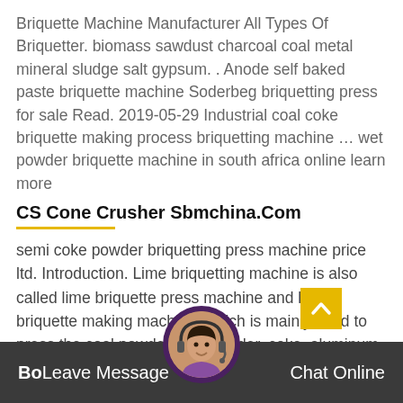Briquette Machine Manufacturer All Types Of Briquetter. biomass sawdust charcoal coal metal mineral sludge salt gypsum. . Anode self baked paste briquette machine Soderbeg briquetting press for sale Read. 2019-05-29 Industrial coal coke briquette making process briquetting machine … wet powder briquette machine in south africa online learn more
CS Cone Crusher Sbmchina.Com
semi coke powder briquetting press machine price ltd. Introduction. Lime briquetting machine is also called lime briquette press machine and lime briquette making machine, which is mainly used to press the coal powder, iron powder, coke, aluminum powder, scrap iron, sinter, toner, carbon dust, slag, gypsum, tailing ... kaolin, activated ...
Bo Leave Message   Chat Online